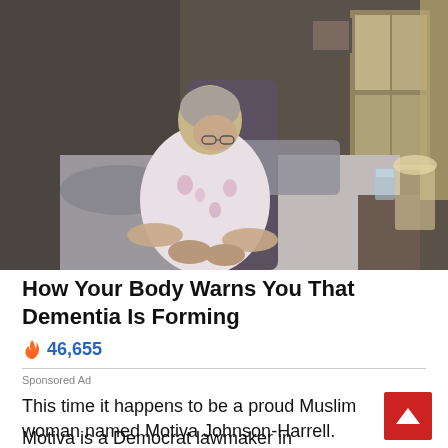[Figure (photo): Elderly woman in a floral robe sitting hunched on the edge of a bed in a dimly lit bedroom, looking down at her hands. A nightstand with a glass of water is to the right.]
How Your Body Warns You That Dementia Is Forming
🔥 46,655
Sponsored Ad
This time it happens to be a proud Muslim woman named Motiva Johnson-Harrell.
Motiva is a Democrat lawmaker in Philadelphia